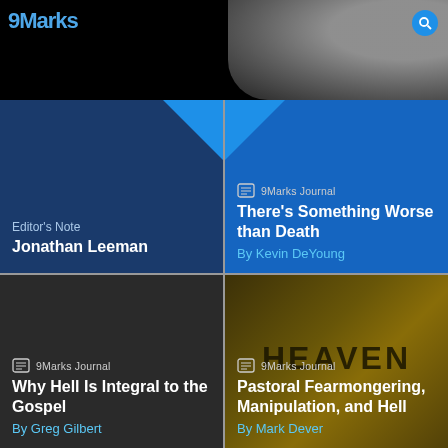[Figure (other): 9Marks website header with logo and moon/globe image background]
[Figure (other): Dark blue card: Editor's Note by Jonathan Leeman]
[Figure (other): Blue card: 9Marks Journal article - There's Something Worse than Death by Kevin DeYoung]
[Figure (other): Dark gray card: 9Marks Journal article - Why Hell Is Integral to the Gospel by Greg Gilbert]
[Figure (other): Dark card with HEAVEN sign image: 9Marks Journal article - Pastoral Fearmongering, Manipulation, and Hell by Mark Dever]